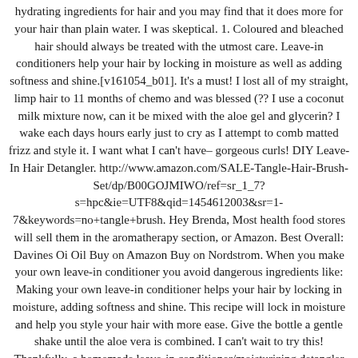hydrating ingredients for hair and you may find that it does more for your hair than plain water. I was skeptical. 1. Coloured and bleached hair should always be treated with the utmost care. Leave-in conditioners help your hair by locking in moisture as well as adding softness and shine.[v161054_b01]. It's a must! I lost all of my straight, limp hair to 11 months of chemo and was blessed (?? I use a coconut milk mixture now, can it be mixed with the aloe gel and glycerin? I wake each days hours early just to cry as I attempt to comb matted frizz and style it. I want what I can't have–gorgeous curls! DIY Leave-In Hair Detangler. http://www.amazon.com/SALE-Tangle-Hair-Brush-Set/dp/B00GOJMIWO/ref=sr_1_7?s=hpc&ie=UTF8&qid=1454612003&sr=1-7&keywords=no+tangle+brush. Hey Brenda, Most health food stores will sell them in the aromatherapy section, or Amazon. Best Overall: Davines Oi Oil Buy on Amazon Buy on Nordstrom. When you make your own leave-in conditioner you avoid dangerous ingredients like: Making your own leave-in conditioner helps your hair by locking in moisture, adding softness and shine. This recipe will lock in moisture and help you style your hair with more ease. Give the bottle a gentle shake until the aloe vera is combined. I can't wait to try this! Thankfully, a homemade leave-in conditioner/moisturizing detangler recipe is very easy to make. Good post!! can I keep the spray in my bag and use it whenever my hair is tangled? As such, it's a must to counter these effects with the best conditioners for bleached hair, or your strands will